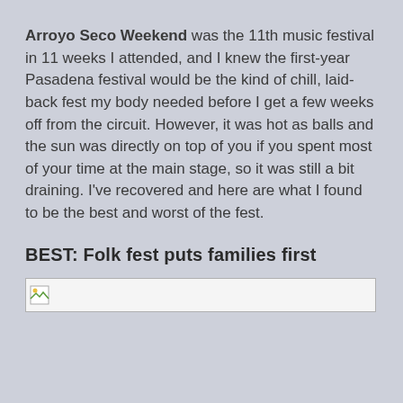Arroyo Seco Weekend was the 11th music festival in 11 weeks I attended, and I knew the first-year Pasadena festival would be the kind of chill, laid-back fest my body needed before I get a few weeks off from the circuit. However, it was hot as balls and the sun was directly on top of you if you spent most of your time at the main stage, so it was still a bit draining. I've recovered and here are what I found to be the best and worst of the fest.
BEST: Folk fest puts families first
[Figure (photo): Broken/missing image placeholder with small image icon on the left]